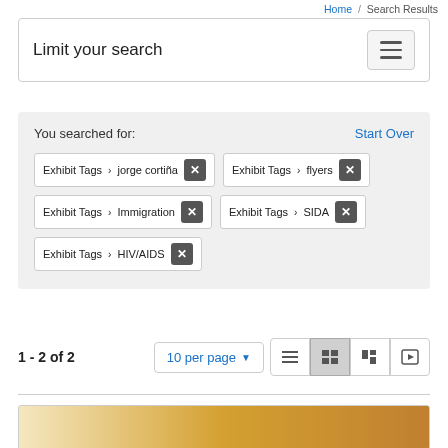Home / Search Results
Limit your search
You searched for:
Start Over
Exhibit Tags › jorge cortiña ✕
Exhibit Tags › flyers ✕
Exhibit Tags › Immigration ✕
Exhibit Tags › SIDA ✕
Exhibit Tags › HIV/AIDS ✕
1 - 2 of 2
10 per page
[Figure (screenshot): View toggle buttons: list, grid (active), masonry, slideshow]